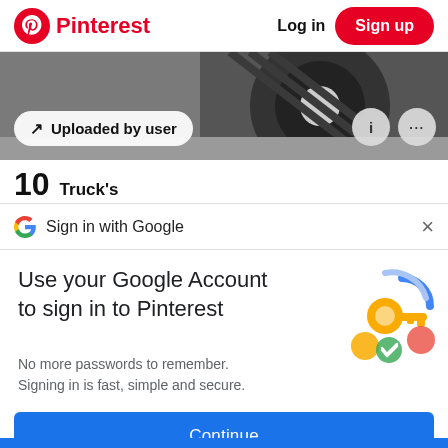Pinterest  Log in  Sign up
[Figure (screenshot): Cropped photo of a truck tire on pavement with 'Uploaded by user' badge overlay and info/more icon circles]
10  Truck's
Sign in with Google
Use your Google Account to sign in to Pinterest
No more passwords to remember.
Signing in is fast, simple and secure.
[Figure (illustration): Google key and colorful shapes illustration for Google sign-in]
Continue